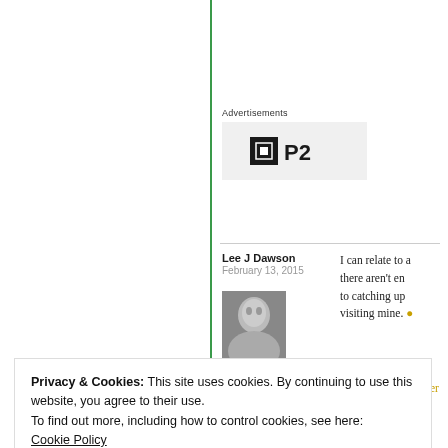Advertisements
[Figure (logo): P2 logo with black square icon containing white square and bold P2 text]
Lee J Dawson
February 13, 2015
[Figure (photo): Grayscale portrait photo of a woman with light hair]
I can relate to a... there aren't en... to catching up... visiting mine.
Privacy & Cookies: This site uses cookies. By continuing to use this website, you agree to their use.
To find out more, including how to control cookies, see here:
Cookie Policy
Close and accept